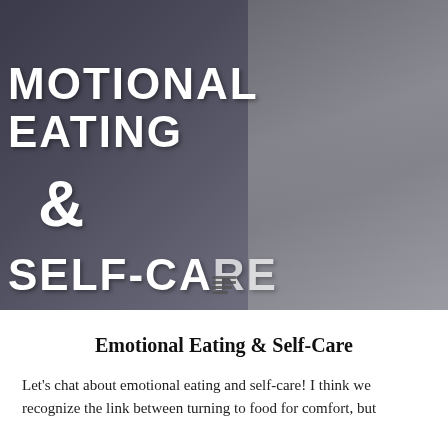[Figure (photo): Black and white photo of a person's midsection wearing a dark shirt, with chalkboard-style handwritten text reading 'EMOTIONAL EATING & SELF-CARE' overlaid on the image. A small list/lines icon appears at the bottom center.]
Emotional Eating & Self-Care
Let's chat about emotional eating and self-care! I think we recognize the link between turning to food for comfort, but